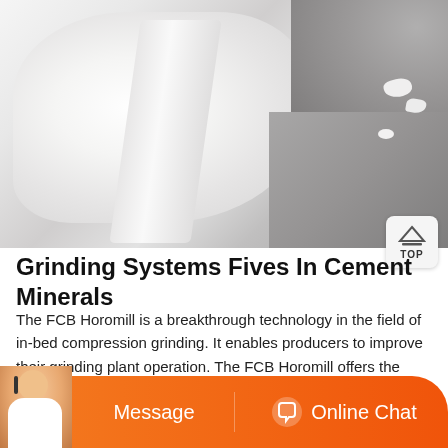[Figure (photo): Close-up photo of white mineral/chalk material in a bag or pile, showing white granular/powdery substance with folds, with darker rocky material visible in the background on the right side.]
Grinding Systems Fives In Cement Minerals
The FCB Horomill is a breakthrough technology in the field of in-bed compression grinding. It enables producers to improve their grinding plant operation. The FCB Horomill offers the lowest energy consumption and a higher cement quality with lower Blaine.
[Figure (infographic): Orange bottom bar with customer service agent photo on left, Message button in center-left, and Online Chat button with headset icon on center-right.]